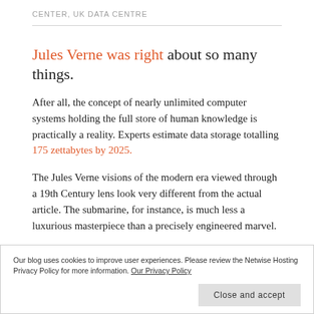CENTER, UK DATA CENTRE
Jules Verne was right about so many things.
After all, the concept of nearly unlimited computer systems holding the full store of human knowledge is practically a reality. Experts estimate data storage totalling 175 zettabytes by 2025.
The Jules Verne visions of the modern era viewed through a 19th Century lens look very different from the actual article. The submarine, for instance, is much less a luxurious masterpiece than a precisely engineered marvel.
Our blog uses cookies to improve user experiences. Please review the Netwise Hosting Privacy Policy for more information. Our Privacy Policy
modern and cost-effective data centre solutions.